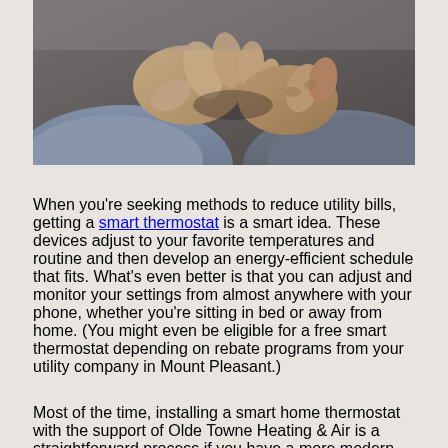[Figure (photo): Close-up photo of a person's hands, appears to be adjusting something, person wearing a grey sweater, dark background]
When you're seeking methods to reduce utility bills, getting a smart thermostat is a smart idea. These devices adjust to your favorite temperatures and routine and then develop an energy-efficient schedule that fits. What's even better is that you can adjust and monitor your settings from almost anywhere with your phone, whether you're sitting in bed or away from home. (You might even be eligible for a free smart thermostat depending on rebate programs from your utility company in Mount Pleasant.)
Most of the time, installing a smart home thermostat with the support of Olde Towne Heating & Air is a straightforward process if you have a more modern...